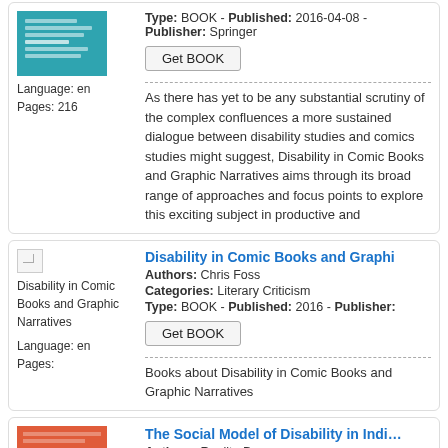[Figure (illustration): Book cover with teal/cyan background and white text lines]
Language: en
Pages: 216
Type: BOOK - Published: 2016-04-08 - Publisher: Springer
Get BOOK
As there has yet to be any substantial scrutiny of the complex confluences a more sustained dialogue between disability studies and comics studies might suggest, Disability in Comic Books and Graphic Narratives aims through its broad range of approaches and focus points to explore this exciting subject in productive and
[Figure (illustration): Small placeholder book image icon]
Disability in Comic Books and Graphic Narratives
Language: en
Pages:
Disability in Comic Books and Graphi
Authors: Chris Foss
Categories: Literary Criticism
Type: BOOK - Published: 2016 - Publisher:
Get BOOK
Books about Disability in Comic Books and Graphic Narratives
[Figure (illustration): Book cover with orange/red background and text lines]
The Social Model of Disability in Indi…
Authors: Ranjita Dawn
Categories: Education
Type: BOOK - Published: 2021-05-28 -